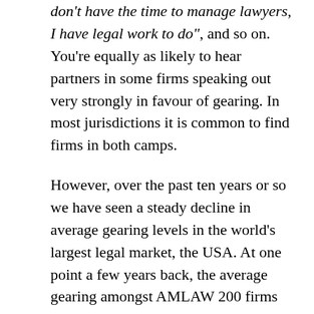don't have the time to manage lawyers, I have legal work to do", and so on. You're equally as likely to hear partners in some firms speaking out very strongly in favour of gearing. In most jurisdictions it is common to find firms in both camps.
However, over the past ten years or so we have seen a steady decline in average gearing levels in the world's largest legal market, the USA. At one point a few years back, the average gearing amongst AMLAW 200 firms dropped to .6 lawyers on average per partner. In a majority of these firms it appears that non-partner lawyers operate as an available pool of associates: i.e., they are not allocated to a particular partner. We understood